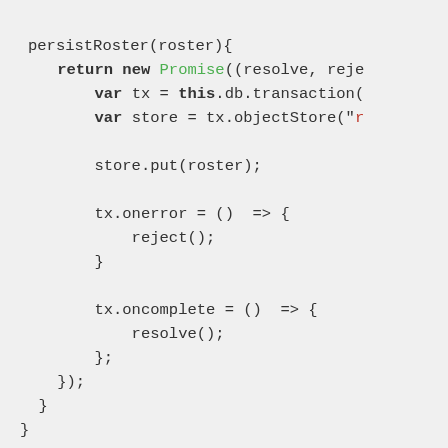[Figure (screenshot): Code snippet showing a JavaScript persistRoster function using IndexedDB with a Promise, objectStore, onerror, and oncomplete handlers.]